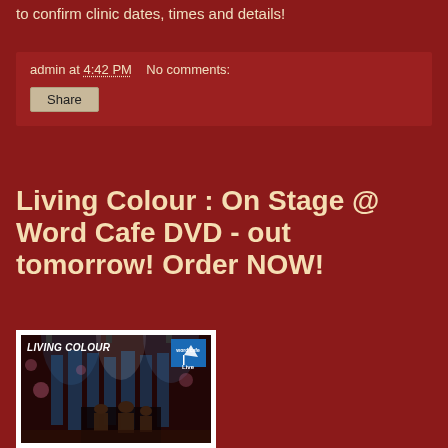to confirm clinic dates, times and details!
admin at 4:42 PM   No comments:
Share
Living Colour : On Stage @ Word Cafe DVD - out tomorrow! Order NOW!
[Figure (photo): Album/DVD cover for Living Colour: On Stage @ Word Cafe, showing the band performing on a stage with dramatic lighting, blue and white stage lights visible. 'LIVING COLOUR' text in bold italic at top left, Word Cafe Live logo in blue at top right.]